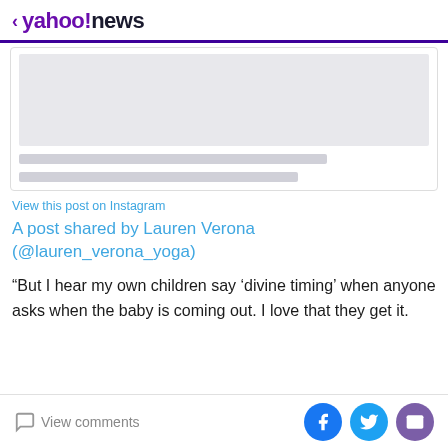< yahoo!news
[Figure (screenshot): Instagram embed placeholder with grey image area and two grey text placeholder bars]
View this post on Instagram
A post shared by Lauren Verona (@lauren_verona_yoga)
“But I hear my own children say ‘divine timing’ when anyone asks when the baby is coming out. I love that they get it.
View comments